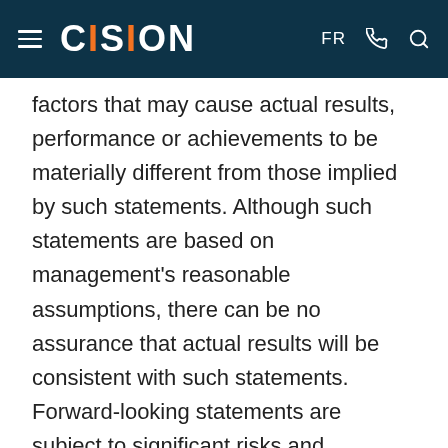CISION | FR
factors that may cause actual results, performance or achievements to be materially different from those implied by such statements. Although such statements are based on management's reasonable assumptions, there can be no assurance that actual results will be consistent with such statements. Forward-looking statements are subject to significant risks and uncertainties, and other factors that could cause actual results to differ materially from expected results, including but not limited to such risks that that one or more of the definitive agreements for the proposed transactions is terminated in accordance with its terms or otherwise; that the conditions precedent to the completion of the transactions are